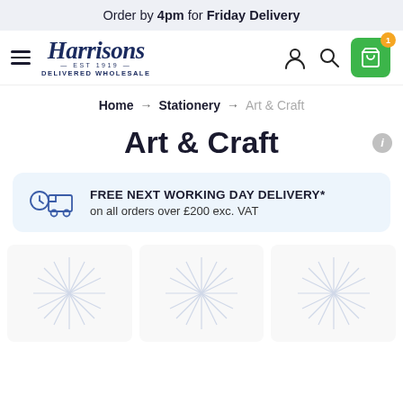Order by 4pm for Friday Delivery
[Figure (logo): Harrisons Est 1919 Delivered Wholesale logo with hamburger menu, user icon, search icon, and green cart button]
Home → Stationery → Art & Craft
Art & Craft
FREE NEXT WORKING DAY DELIVERY* on all orders over £200 exc. VAT
[Figure (illustration): Three product category placeholder cards with starburst/sparkle decorative backgrounds]